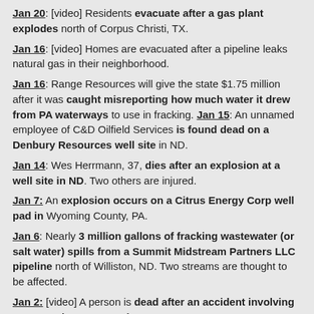Jan 20: [video] Residents evacuate after a gas plant explodes north of Corpus Christi, TX.
Jan 16: [video] Homes are evacuated after a pipeline leaks natural gas in their neighborhood.
Jan 16: Range Resources will give the state $1.75 million after it was caught misreporting how much water it drew from PA waterways to use in fracking. Jan 15: An unnamed employee of C&D Oilfield Services is found dead on a Denbury Resources well site in ND.
Jan 14: Wes Herrmann, 37, dies after an explosion at a well site in ND. Two others are injured.
Jan 7: An explosion occurs on a Citrus Energy Corp well pad in Wyoming County, PA.
Jan 6: Nearly 3 million gallons of fracking wastewater (or salt water) spills from a Summit Midstream Partners LLC pipeline north of Williston, ND. Two streams are thought to be affected.
Jan 2: [video] A person is dead after an accident involving a SUV and a water truck
Jan 1: Eight oil storage tanks explode and burn through the